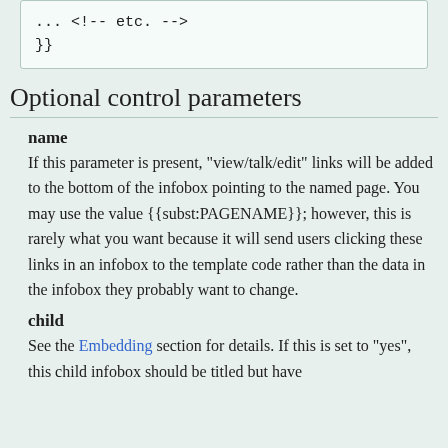... <!-- etc. -->
}}
Optional control parameters
name
If this parameter is present, "view/talk/edit" links will be added to the bottom of the infobox pointing to the named page. You may use the value {{subst:PAGENAME}}; however, this is rarely what you want because it will send users clicking these links in an infobox to the template code rather than the data in the infobox they probably want to change.
child
See the Embedding section for details. If this is set to "yes", this child infobox should be titled but have